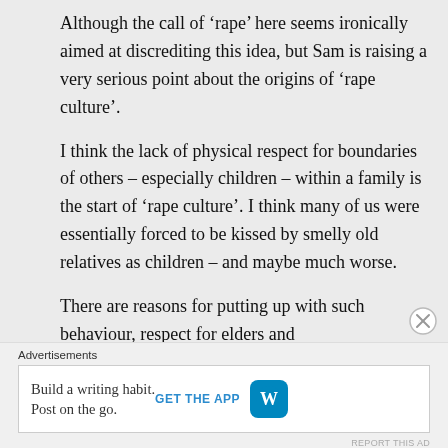Although the call of ‘rape’ here seems ironically aimed at discrediting this idea, but Sam is raising a very serious point about the origins of ‘rape culture’.
I think the lack of physical respect for boundaries of others – especially children – within a family is the start of ‘rape culture’. I think many of us were essentially forced to be kissed by smelly old relatives as children – and maybe much worse.
There are reasons for putting up with such behaviour, respect for elders and
Advertisements
Build a writing habit. Post on the go.